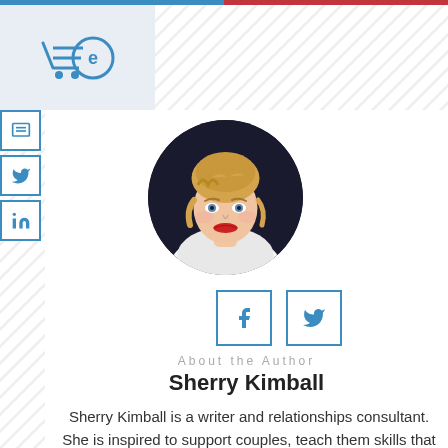[Figure (photo): Circular profile photo of Sherry Kimball, a blonde woman with braided updo hairstyle, wearing a white lace top against a dark background]
[Figure (infographic): Facebook and Twitter social media icon buttons with blue borders]
About the Author
Sherry Kimball
Sherry Kimball is a writer and relationships consultant. She is inspired to support couples, teach them skills that lead to healthy, happy, and romantic partnerships. Sherry enjoys researching,